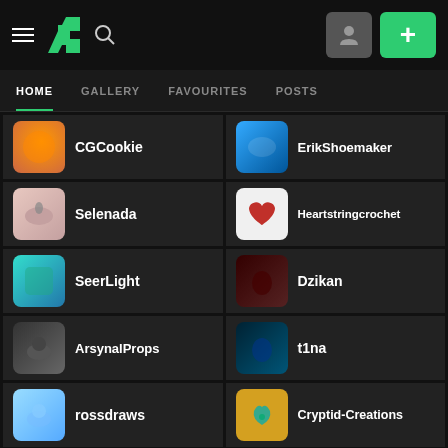[Figure (screenshot): DeviantArt mobile app navigation bar with hamburger menu, DA logo, search icon, avatar button, and plus button]
HOME  GALLERY  FAVOURITES  POSTS
CGCookie
ErikShoemaker
Selenada
Heartstringcrochet
SeerLight
Dzikan
ArsynalProps
t1na
rossdraws
Cryptid-Creations